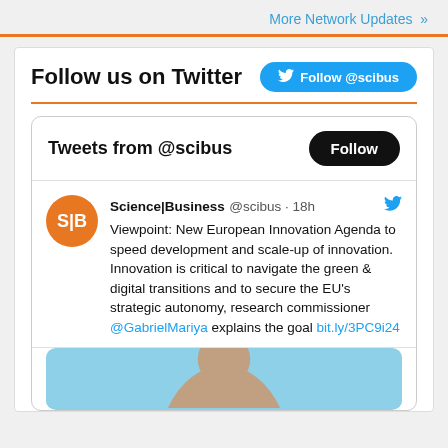More Network Updates »
Follow us on Twitter
Tweets from @scibus
Science|Business @scibus · 18h
Viewpoint: New European Innovation Agenda to speed development and scale-up of innovation.
Innovation is critical to navigate the green & digital transitions and to secure the EU's strategic autonomy, research commissioner @GabrielMariya explains the goal bit.ly/3PC9i24
[Figure (photo): Partial photo of a person against a blue background, cropped at bottom of page]